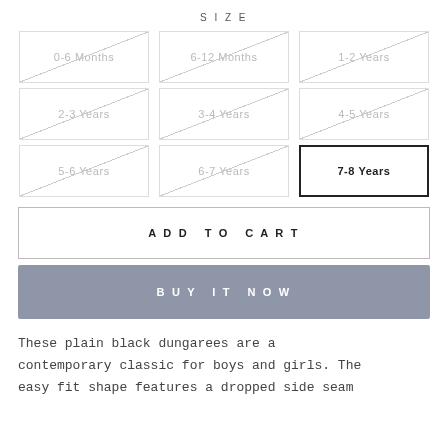SIZE
0-6 Months (unavailable)
6-12 Months (unavailable)
1-2 Years (unavailable)
2-3 Years (unavailable)
3-4 Years (unavailable)
4-5 Years (unavailable)
5-6 Years (unavailable)
6-7 Years (unavailable)
7-8 Years (selected)
ADD TO CART
BUY IT NOW
These plain black dungarees are a contemporary classic for boys and girls. The easy fit shape features a dropped side seam